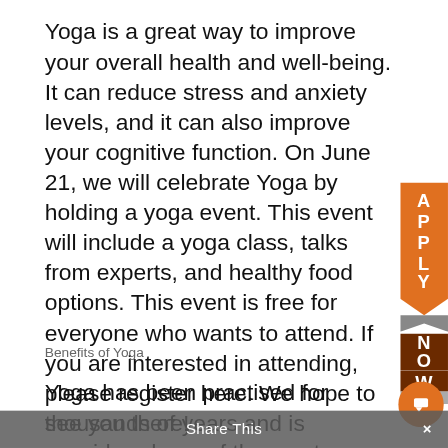Yoga is a great way to improve your overall health and well-being. It can reduce stress and anxiety levels, and it can also improve your cognitive function. On June 21, we will celebrate Yoga by holding a yoga event. This event will include a yoga class, talks from experts, and healthy food options. This event is free for everyone who wants to attend. If you are interested in attending, please register here. We hope to see you there!
[Figure (other): Orange bookmark-shaped 'APPLY NOW' widget on right side of page]
Benefits of Yoga
Yoga has been practised for thousands of years and is considered one of the most beneficial exercises available. Here are
[Figure (other): Orange circular chat/comment button on right side]
Share This ×